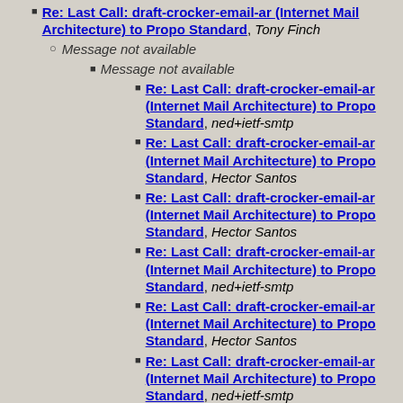Re: Last Call: draft-crocker-email-ar (Internet Mail Architecture) to Proposed Standard, Tony Finch
Message not available
Message not available
Re: Last Call: draft-crocker-email-ar (Internet Mail Architecture) to Proposed Standard, ned+ietf-smtp
Re: Last Call: draft-crocker-email-ar (Internet Mail Architecture) to Proposed Standard, Hector Santos
Re: Last Call: draft-crocker-email-ar (Internet Mail Architecture) to Proposed Standard, Hector Santos
Re: Last Call: draft-crocker-email-ar (Internet Mail Architecture) to Proposed Standard, ned+ietf-smtp
Re: Last Call: draft-crocker-email-ar (Internet Mail Architecture) to Proposed Standard, Hector Santos
Re: Last Call: draft-crocker-email-ar (Internet Mail Architecture) to Proposed Standard, ned+ietf-smtp
Re: Last Call: draft-crocker-email-ar (Internet Mail Architecture) to Proposed Standard